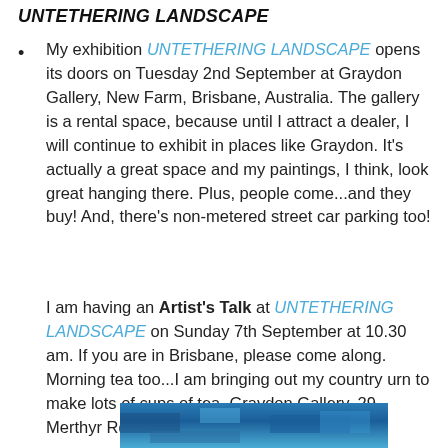UNTETHERING LANDSCAPE
My exhibition UNTETHERING LANDSCAPE opens its doors on Tuesday 2nd September at Graydon Gallery, New Farm, Brisbane, Australia. The gallery is a rental space, because until I attract a dealer, I will continue to exhibit in places like Graydon. It's actually a great space and my paintings, I think, look great hanging there. Plus, people come...and they buy! And, there's non-metered street car parking too!
I am having an Artist's Talk at UNTETHERING LANDSCAPE on Sunday 7th September at 10.30 am. If you are in Brisbane, please come along. Morning tea too...I am bringing out my country urn to make lots of cups of tea. Graydon Gallery, 29 Merthyr Rd, new Farm, Brisbane.
[Figure (photo): Partial view of a painting or artwork with blue tones, cropped at the bottom of the page]